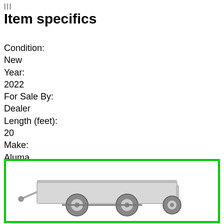|||
Item specifics
Condition:
New
Year:
2022
For Sale By:
Dealer
Length (feet):
20
Make:
Aluma
Model:
Tandem Axle Utility 8220
[Figure (photo): Photo of Aluma Tandem Axle Utility 8220 trailer, shown inside a green-bordered box. Partial view showing the rear/side of a silver aluminum trailer with wheels visible.]